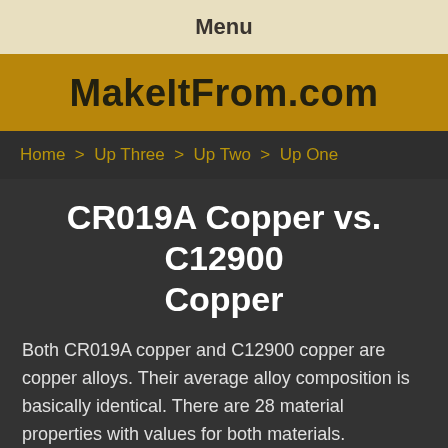Menu
MakeItFrom.com
Home > Up Three > Up Two > Up One
CR019A Copper vs. C12900 Copper
Both CR019A copper and C12900 copper are copper alloys. Their average alloy composition is basically identical. There are 28 material properties with values for both materials. Properties with values for just one material (2, in this case) are not shown.